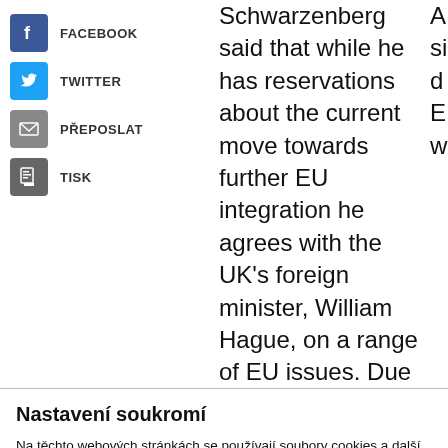FACEBOOK
TWITTER
PŘEPOSLAT
TISK
Schwarzenberg said that while he has reservations about the current move towards further EU integration he agrees with the UK's foreign minister, William Hague, on a range of EU issues. Due to the Czech Republic's
Nastavení soukromí
Na těchto webových stránkách se používají soubory cookies a další síťové identifikátory, které mohou také sloužit ke zpracování dalších osobních údajů (např. jak procházíte naše stránky, jaký obsah Vás zajímá a také volby, které provedete pomocí tohoto okna). My a naši partneři máme k těmto údajům ve Vašem zařízení přístup nebo je ukládáme. Tyto údaje nám pomáhají provozovat a zlepšovat naše služby. Můžeme Vám také
Podrobné nastavení
Rozumím a přijímám